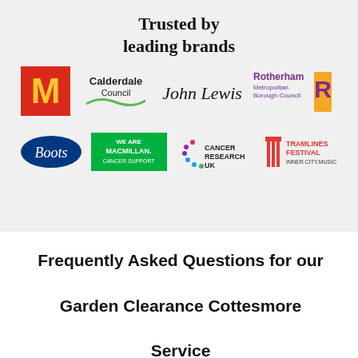Trusted by leading brands
[Figure (logo): Row of brand logos: McDonald's, Calderdale Council, John Lewis, Rotherham Metropolitan Borough Council]
[Figure (logo): Row of brand logos: Boots, We Are Macmillan Cancer Support, Cancer Research UK, Tramlines Festival Inner City Music]
Frequently Asked Questions for our Garden Clearance Cottesmore Service